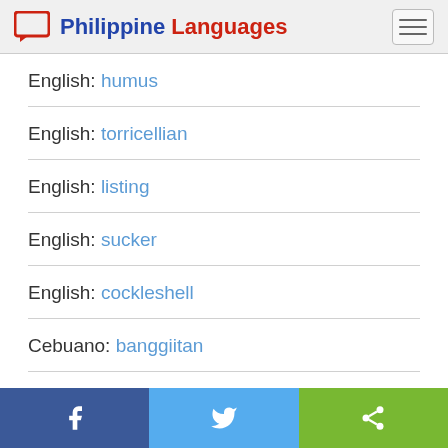Philippine Languages
English: humus
English: torricellian
English: listing
English: sucker
English: cockleshell
Cebuano: banggiitan
Share buttons: Facebook, Twitter, Share